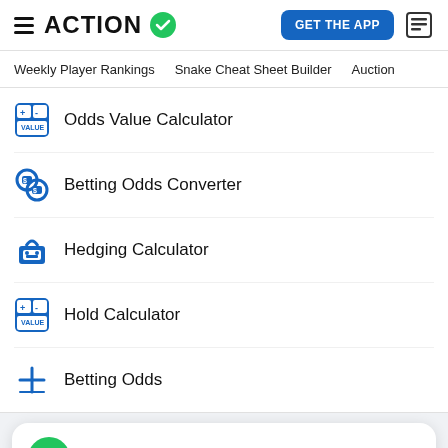ACTION
GET THE APP
Weekly Player Rankings   Snake Cheat Sheet Builder   Auction
Odds Value Calculator
Betting Odds Converter
Hedging Calculator
Hold Calculator
Betting Odds
#1 App for Sports Bettors
GET FREE APP